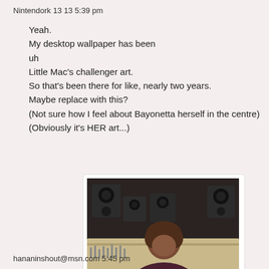Nintendork 13 13 5:39 pm
Yeah.
My desktop wallpaper has been
uh
Little Mac's challenger art.
So that's been there for like, nearly two years.
Maybe replace with this?
(Not sure how I feel about Bayonetta herself in the centre)
(Obviously it's HER art...)
[Figure (screenshot): Screenshot of a person in a recording studio sitting at a mixing console with studio monitors in the background. White subtitle text reads 'Thank you very much' at the bottom of the image.]
"Thank you very much."
hananinshout@msn.com 5:45 pm